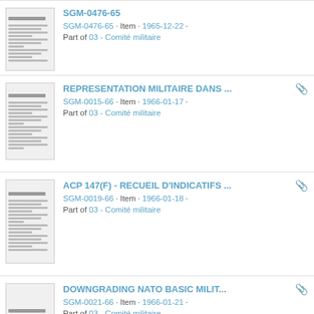SGM-0476-65 · Item · 1965-12-22 · Part of 03 - Comité militaire
REPRESENTATION MILITAIRE DANS ... SGM-0015-66 · Item · 1966-01-17 · Part of 03 - Comité militaire
ACP 147(F) - RECUEIL D'INDICATIFS ... SGM-0019-66 · Item · 1966-01-18 · Part of 03 - Comité militaire
DOWNGRADING NATO BASIC MILIT... SGM-0021-66 · Item · 1966-01-21 · Part of 03 - Comité militaire